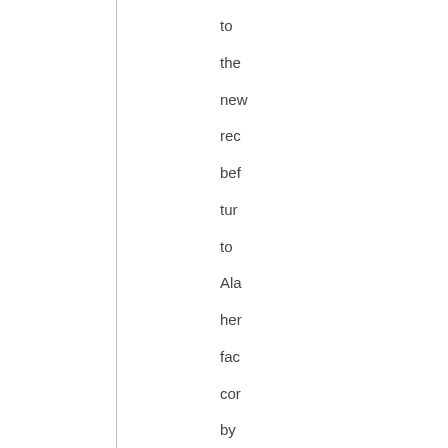to the new rec bef tur to Ala her fac cor by her hel "Ag No is a stri ins but so lon as you